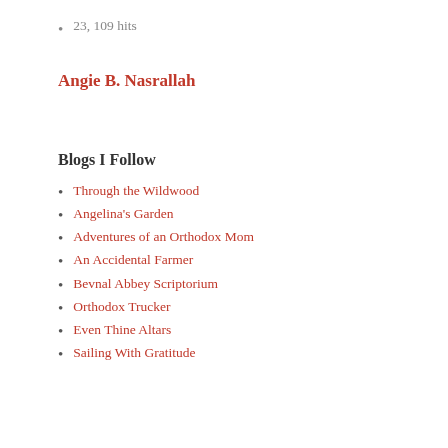23,109 hits
Angie B. Nasrallah
Blogs I Follow
Through the Wildwood
Angelina's Garden
Adventures of an Orthodox Mom
An Accidental Farmer
Bevnal Abbey Scriptorium
Orthodox Trucker
Even Thine Altars
Sailing With Gratitude